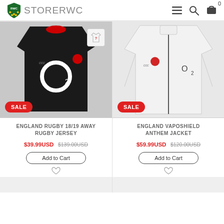STORERWC
[Figure (photo): Black England Rugby 18/19 Away Rugby Jersey with O2 sponsor logo, SALE badge]
[Figure (photo): White England Vaposhield Anthem Jacket with O2 sponsor logo, SALE badge]
ENGLAND RUGBY 18/19 AWAY RUGBY JERSEY
$39.99USD $139.00USD
Add to Cart
ENGLAND VAPOSHIELD ANTHEM JACKET
$59.99USD $120.00USD
Add to Cart